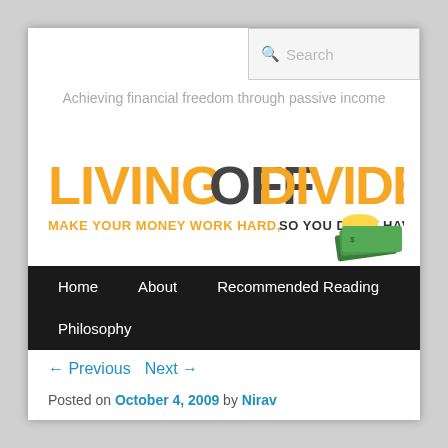Search
Achieving financial freedom through passive income
[Figure (logo): Living Off Dividends logo with orange and dark text reading LIVINGOFFDIVIDENDS and tagline MAKE YOUR MONEY WORK HARD, SO YOU DON'T HAVE TO, with coins and cash imagery on the right]
Home   About   Recommended Reading   Philosophy
← Previous   Next →
Posted on October 4, 2009 by Nirav